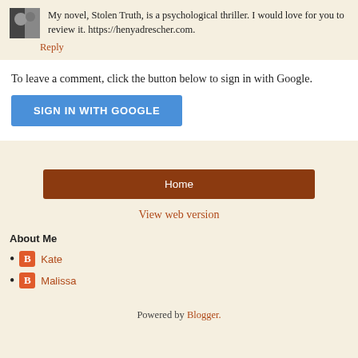My novel, Stolen Truth, is a psychological thriller. I would love for you to review it. https://henyadrescher.com.
Reply
To leave a comment, click the button below to sign in with Google.
SIGN IN WITH GOOGLE
Home
View web version
About Me
Kate
Malissa
Powered by Blogger.